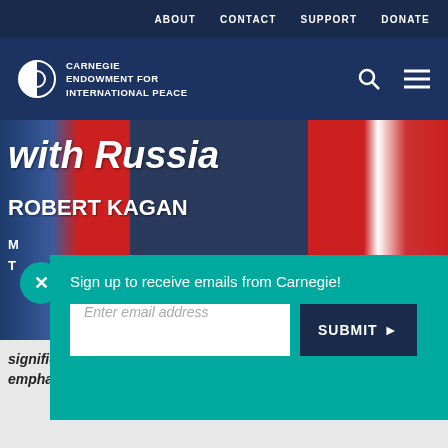ABOUT   CONTACT   SUPPORT   DONATE
[Figure (logo): Carnegie Endowment for International Peace logo with circular half-filled icon and white text]
[Figure (photo): Background photo showing Russian and American flags with text 'with Russia' overlaid]
with Russia
ROBERT KAGAN
M
T
Sign up to receive emails from Carnegie!
Enter email address
SUBMIT ▶
R
I
significantly since 2007, in spite of the Obama administration's emphasis on the success of the 'reset.'